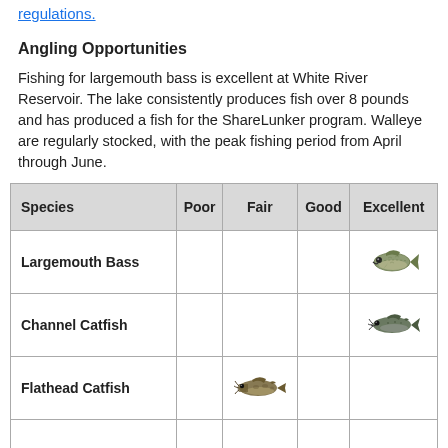regulations.
Angling Opportunities
Fishing for largemouth bass is excellent at White River Reservoir. The lake consistently produces fish over 8 pounds and has produced a fish for the ShareLunker program. Walleye are regularly stocked, with the peak fishing period from April through June.
| Species | Poor | Fair | Good | Excellent |
| --- | --- | --- | --- | --- |
| Largemouth Bass |  |  |  | [fish icon] |
| Channel Catfish |  |  |  | [fish icon] |
| Flathead Catfish |  | [fish icon] |  |  |